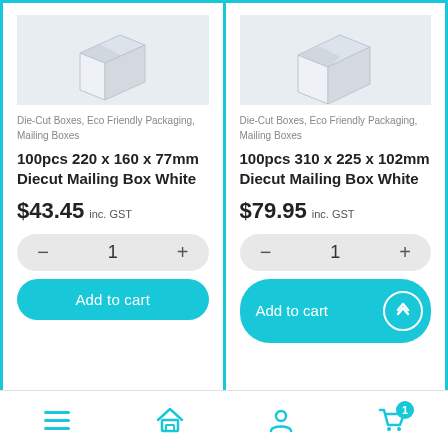[Figure (photo): Two white cardboard mailing box product cards shown side by side on an e-commerce product listing page]
Die-Cut Boxes, Eco Friendly Packaging, Mailing Boxes
100pcs 220 x 160 x 77mm Diecut Mailing Box White
$43.45 inc. GST
Die-Cut Boxes, Eco Friendly Packaging, Mailing Boxes
100pcs 310 x 225 x 102mm Diecut Mailing Box White
$79.95 inc. GST
Navigation bar with menu, home, user, and cart icons